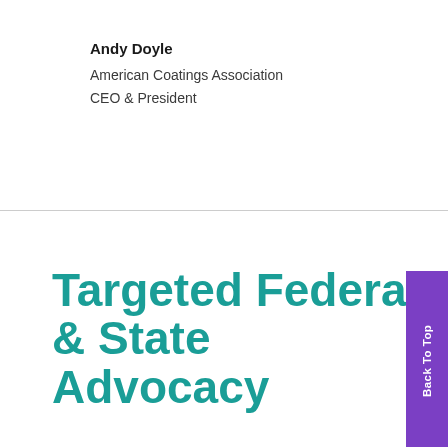Andy Doyle
American Coatings Association
CEO & President
Targeted Federal & State Advocacy